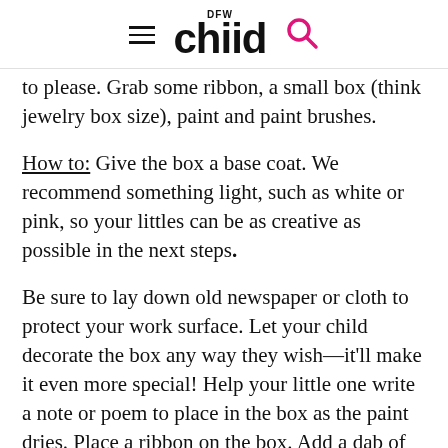DFW Child
to please. Grab some ribbon, a small box (think jewelry box size), paint and paint brushes.
How to: Give the box a base coat. We recommend something light, such as white or pink, so your littles can be as creative as possible in the next steps.
Be sure to lay down old newspaper or cloth to protect your work surface. Let your child decorate the box any way they wish—it'll make it even more special! Help your little one write a note or poem to place in the box as the paint dries. Place a ribbon on the box. Add a dab of glue if you want to make sure it stays in place.